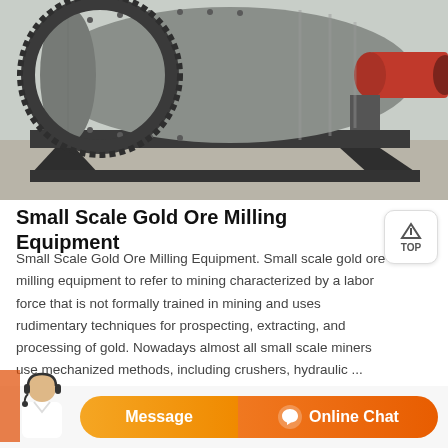[Figure (photo): Photograph of a large industrial ball mill machine — a cylindrical grey steel drum mounted on a heavy black steel frame, with a large gear ring and a red-painted cylindrical outlet pipe on the right side. The machine sits on a concrete surface.]
Small Scale Gold Ore Milling Equipment
Small Scale Gold Ore Milling Equipment. Small scale gold ore milling equipment to refer to mining characterized by a labor force that is not formally trained in mining and uses rudimentary techniques for prospecting, extracting, and processing of gold. Nowadays almost all small scale miners use mechanized methods, including crushers, hydraulic ...